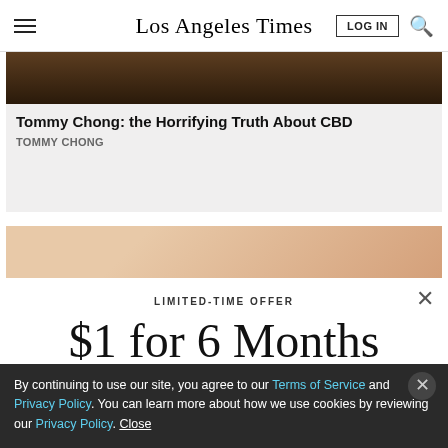Los Angeles Times
[Figure (screenshot): Dark brownish advertisement image banner (cropped at top)]
Tommy Chong: the Horrifying Truth About CBD
TOMMY CHONG
[Figure (photo): Partial photo showing skin tones, blond wood or hair texture]
LIMITED-TIME OFFER
$1 for 6 Months
SUBSCRIBE NOW
By continuing to use our site, you agree to our Terms of Service and Privacy Policy. You can learn more about how we use cookies by reviewing our Privacy Policy. Close